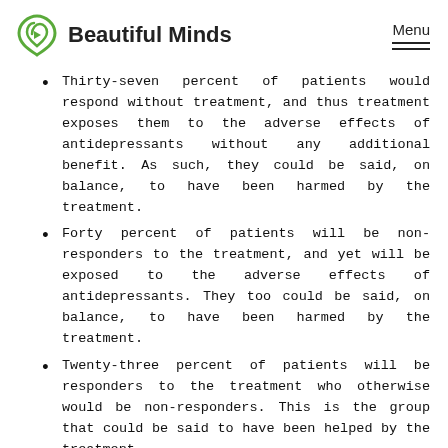Beautiful Minds | Menu
Thirty-seven percent of patients would respond without treatment, and thus treatment exposes them to the adverse effects of antidepressants without any additional benefit. As such, they could be said, on balance, to have been harmed by the treatment.
Forty percent of patients will be non-responders to the treatment, and yet will be exposed to the adverse effects of antidepressants. They too could be said, on balance, to have been harmed by the treatment.
Twenty-three percent of patients will be responders to the treatment who otherwise would be non-responders. This is the group that could be said to have been helped by the treatment.